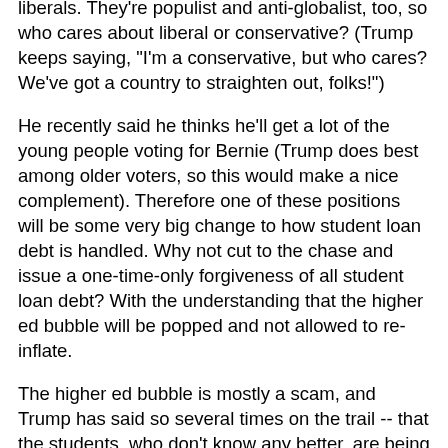liberals. They're populist and anti-globalist, too, so who cares about liberal or conservative? (Trump keeps saying, "I'm a conservative, but who cares? We've got a country to straighten out, folks!")
He recently said he thinks he'll get a lot of the young people voting for Bernie (Trump does best among older voters, so this would make a nice complement). Therefore one of these positions will be some very big change to how student loan debt is handled. Why not cut to the chase and issue a one-time-only forgiveness of all student loan debt? With the understanding that the higher ed bubble will be popped and not allowed to re-inflate.
The higher ed bubble is mostly a scam, and Trump has said so several times on the trail -- that the students, who don't know any better, are being used as a conduit for federal loan dollars to get sucked into the coffers of the universities. They give the students nothing of value in return -- witness their pathetic incomes despite having a four-year degree.
To pay for the federal loans that will go bust, tell the universities who scammed the immature students to either